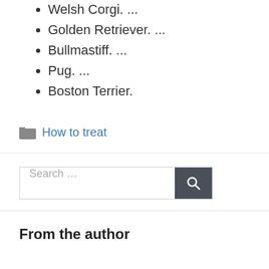Welsh Corgi. ...
Golden Retriever. ...
Bullmastiff. ...
Pug. ...
Boston Terrier.
How to treat
[Figure (other): Search box with text 'Search ...' and a dark search button with magnifier icon]
From the author